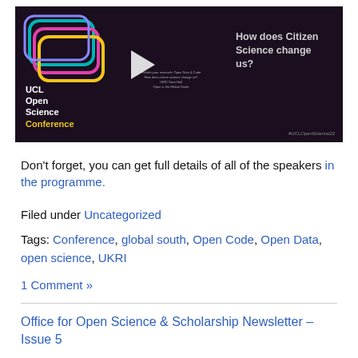[Figure (screenshot): Video thumbnail for UCL Open Science Conference showing colorful overlapping rounded-rectangle logo, a play button, the title 'How does Citizen Science change us?', small text block about open data and code, and hashtag #UCLOpenScience22 on dark purple background.]
Don't forget, you can get full details of all of the speakers in the programme.
Filed under Uncategorized
Tags: Conference, global south, Open Code, Open Data, open science, UKRI
1 Comment »
Office for Open Science & Scholarship Newsletter – Issue 5